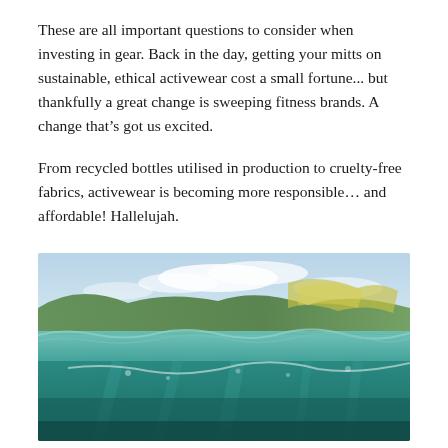These are all important questions to consider when investing in gear. Back in the day, getting your mitts on sustainable, ethical activewear cost a small fortune... but thankfully a great change is sweeping fitness brands. A change that's got us excited.
From recycled bottles utilised in production to cruelty-free fabrics, activewear is becoming more responsible… and affordable! Hallelujah.
[Figure (photo): Underwater ocean photo split at the waterline, showing turquoise green water with rippled surface, clear underwater view below and sky with clouds above, green vegetation visible in the background.]